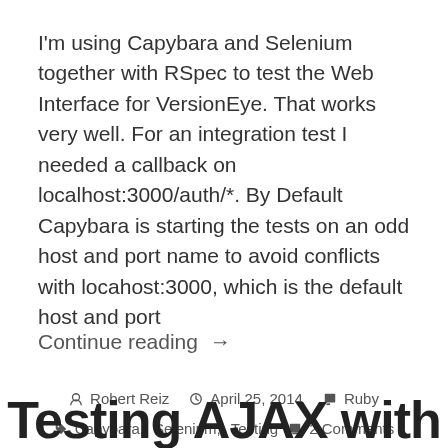I'm using Capybara and Selenium together with RSpec to test the Web Interface for VersionEye. That works very well. For an integration test I needed a callback on localhost:3000/auth/*. By Default Capybara is starting the tests on an odd host and port name to avoid conflicts with locahost:3000, which is the default host and port
Continue reading →
Robert Reiz   April 25, 2014   Ruby   Capybara, Selenium, Testing   2 Comments
Testing AJAX with